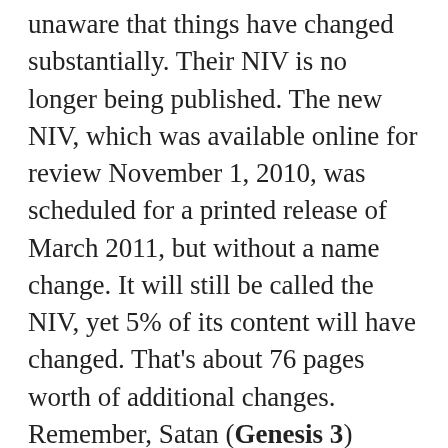unaware that things have changed substantially. Their NIV is no longer being published. The new NIV, which was available online for review November 1, 2010, was scheduled for a printed release of March 2011, but without a name change. It will still be called the NIV, yet 5% of its content will have changed. That's about 76 pages worth of additional changes. Remember, Satan (Genesis 3) added one word and a question mark, which ushered in the law of sin and death. Some will recall that in 2005, the TNIV was published, which some have called the “gender-neutral Bible,” but with no sales success. They have taken the TNIV and merged its content with the pre-2011 NIV. The following paragraph is from www.biblica.com/niv/: